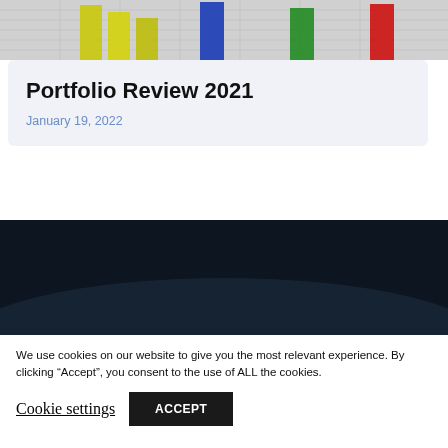[Figure (photo): 3D bar chart with colored bars (yellow, blue, green, red) on a grey grid background]
Portfolio Review 2021
January 19, 2022
[Figure (illustration): Dark navy background section with a lighter arc/curve shape]
We use cookies on our website to give you the most relevant experience. By clicking “Accept”, you consent to the use of ALL the cookies.
Cookie settings
ACCEPT